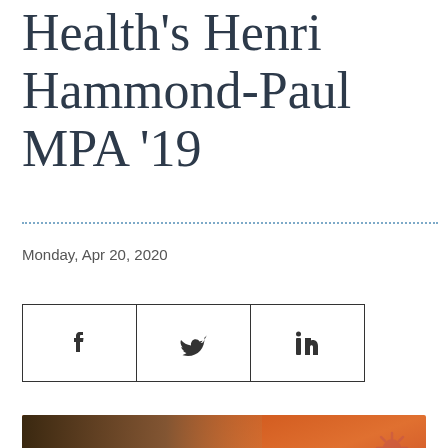Health's Henri Hammond-Paul MPA '19
Monday, Apr 20, 2020
[Figure (other): Social sharing buttons: Facebook, Twitter, LinkedIn]
[Figure (photo): Photo of Henri Hammond-Paul with COVID-19 banner overlay on orange/red background]